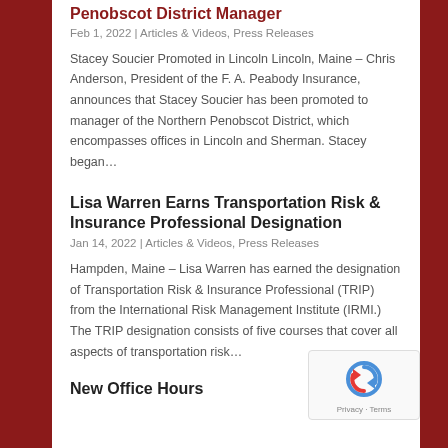Penobscot District Manager
Feb 1, 2022 | Articles & Videos, Press Releases
Stacey Soucier Promoted in Lincoln Lincoln, Maine – Chris Anderson, President of the F. A. Peabody Insurance, announces that Stacey Soucier has been promoted to manager of the Northern Penobscot District, which encompasses offices in Lincoln and Sherman. Stacey began…
Lisa Warren Earns Transportation Risk & Insurance Professional Designation
Jan 14, 2022 | Articles & Videos, Press Releases
Hampden, Maine – Lisa Warren has earned the designation of Transportation Risk & Insurance Professional (TRIP) from the International Risk Management Institute (IRMI.) The TRIP designation consists of five courses that cover all aspects of transportation risk…
New Office Hours